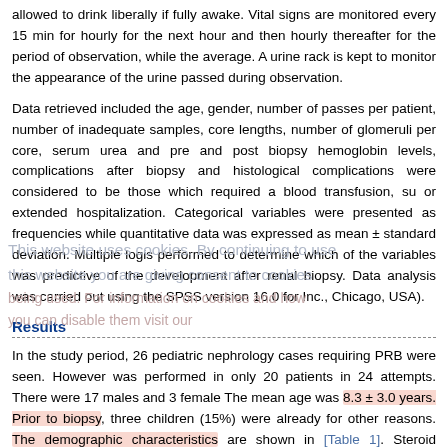allowed to drink liberally if fully awake. Vital signs are monitored every 15 min for hourly for the next hour and then hourly thereafter for the period of observation, w the average. A urine rack is kept to monitor the appearance of the urine passed du observation.
Data retrieved included the age, gender, number of passes per patient, number inadequate samples, core lengths, number of glomeruli per core, serum urea and pre and post biopsy hemoglobin levels, complications after biopsy and histologica complications were considered to be those which required a blood transfusion, su or extended hospitalization. Categorical variables were presented as frequencies while quantitative data was expressed as mean ± standard deviation. Multiple logis performed to determine which of the variables was predictive of the development after renal biopsy. Data analysis was carried out using the SPSS version 16.0 for Inc., Chicago, USA).
Results
In the study period, 26 pediatric nephrology cases requiring PRB were seen. Howe was performed in only 20 patients in 24 attempts. There were 17 males and 3 fema The mean age was 8.3 ± 3.0 years. Prior to biopsy, three children (15%) were alre for other reasons. The demographic characteristics are shown in [Table 1]. Steroid n syndrome was the most common indication for biopsy in 11 (55%) cases. Other in frequently relapsing nephrotic syndrome in 3 (15%) cases and presence of atypical